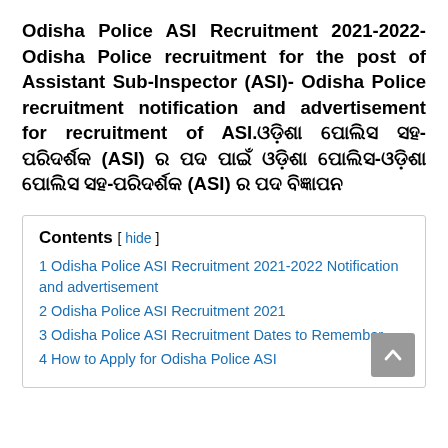Odisha Police ASI Recruitment 2021-2022- Odisha Police recruitment for the post of Assistant Sub-Inspector (ASI)- Odisha Police recruitment notification and advertisement for recruitment of ASI.ଓଡ଼ିଶା ପୋଲିସ ସହ-ପରିଦର୍ଶକ (ASI) ର ପଦ ପାଇଁ ଓଡ଼ିଶା ପୋଲିସ-ଓଡ଼ିଶା ପୋଲିସ ସହ-ପରିଦର୍ଶକ (ASI) ର ପଦ ବିଜ୍ଞାପନ
1 Odisha Police ASI Recruitment 2021-2022 Notification and advertisement
2 Odisha Police ASI Recruitment 2021
3 Odisha Police ASI Recruitment Dates to Remember
4 How to Apply for Odisha Police ASI